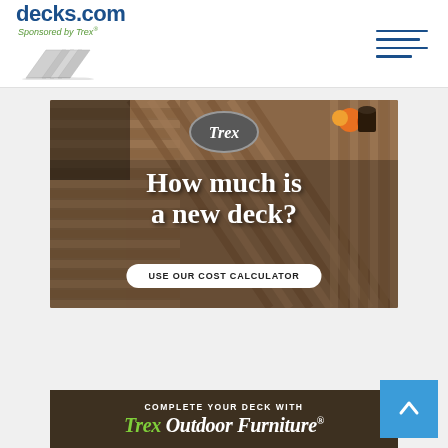[Figure (logo): decks.com logo with 'Sponsored by Trex' tagline and deck plank graphic]
[Figure (illustration): Hamburger menu icon (4 blue horizontal lines)]
[Figure (photo): Trex deck advertisement showing composite deck boards with text 'How much is a new deck?' and 'USE OUR COST CALCULATOR' button and Trex oval badge]
[Figure (illustration): Advertisement strip: 'COMPLETE YOUR DECK WITH Trex Outdoor Furniture' on dark brown background]
[Figure (illustration): Blue back-to-top button with upward chevron arrow]